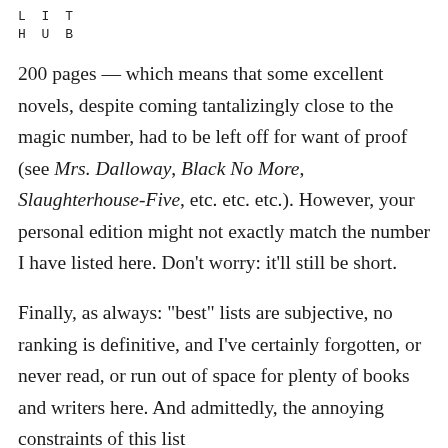L I T
H U B
200 pages — which means that some excellent novels, despite coming tantalizingly close to the magic number, had to be left off for want of proof (see Mrs. Dalloway, Black No More, Slaughterhouse-Five, etc. etc. etc.). However, your personal edition might not exactly match the number I have listed here. Don't worry: it'll still be short.

Finally, as always: “best” lists are subjective, no ranking is definitive, and I’ve certainly forgotten, or never read, or run out of space for plenty of books and writers here. And admittedly, the annoying constraints of this list